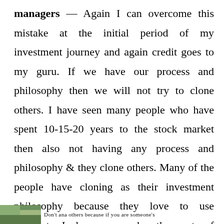managers — Again I can overcome this mistake at the initial period of my investment journey and again credit goes to my guru. If we have our process and philosophy then we will not try to clone others. I have seen many people who have spent 10-15-20 years to the stock market then also not having any process and philosophy & they clone others. Many of the people have cloning as their investment philosophy because they love to use shortcuts. I always remember the quote of my guru –
[Figure (photo): Partial image strip at bottom of page with green/nature imagery and partial text reading: Don't ana others because if you are someone's]